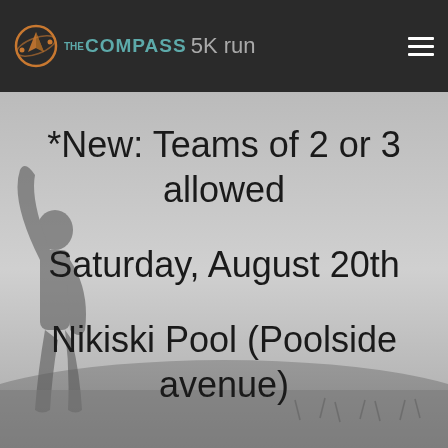THE COMPASS 5K run
*New: Teams of 2 or 3 allowed
Saturday, August 20th
Nikiski Pool (Poolside avenue)